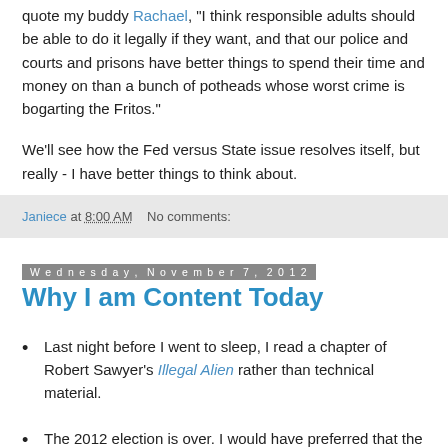quote my buddy Rachael, "I think responsible adults should be able to do it legally if they want, and that our police and courts and prisons have better things to spend their time and money on than a bunch of potheads whose worst crime is bogarting the Fritos."
We'll see how the Fed versus State issue resolves itself, but really - I have better things to think about.
Janiece at 8:00 AM    No comments:
Wednesday, November 7, 2012
Why I am Content Today
Last night before I went to sleep, I read a chapter of Robert Sawyer's Illegal Alien rather than technical material.
The 2012 election is over. I would have preferred that the political landscape had improved in favor